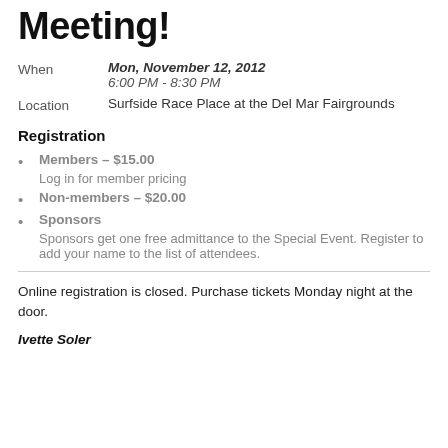Meeting!
When   Mon, November 12, 2012   6:00 PM - 8:30 PM
Location   Surfside Race Place at the Del Mar Fairgrounds
Registration
Members – $15.00
Log in for member pricing
Non-members – $20.00
Sponsors
Sponsors get one free admittance to the Special Event. Register to add your name to the list of attendees.
Online registration is closed. Purchase tickets Monday night at the door.
Ivette Soler